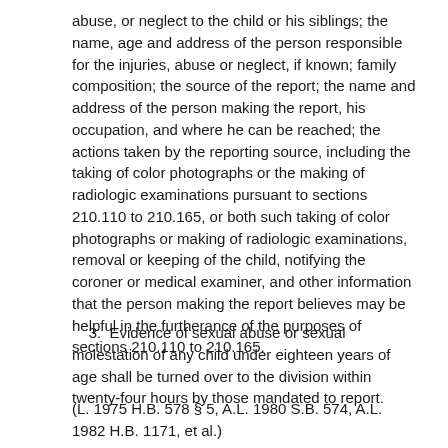abuse, or neglect to the child or his siblings; the name, age and address of the person responsible for the injuries, abuse or neglect, if known; family composition; the source of the report; the name and address of the person making the report, his occupation, and where he can be reached; the actions taken by the reporting source, including the taking of color photographs or the making of radiologic examinations pursuant to sections 210.110 to 210.165, or both such taking of color photographs or making of radiologic examinations, removal or keeping of the child, notifying the coroner or medical examiner, and other information that the person making the report believes may be helpful in the furtherance of the purposes of sections 210.110 to 210.165.
3.  Evidence of sexual abuse or sexual molestation of any child under eighteen years of age shall be turned over to the division within twenty-four hours by those mandated to report.
(L. 1975 H.B. 578 § 5, A.L. 1980 S.B. 574, A.L. 1982 H.B. 1171, et al.)